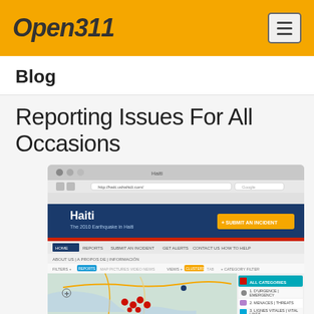Open311
Blog
Reporting Issues For All Occasions
[Figure (screenshot): Screenshot of the Haiti Ushahidi website showing a map of Haiti with incident reports marked by red icons, and a sidebar with category filters including ALL CATEGORIES, 1. D'URGENCE | EMERGENCY, 2. MENACES | THREATS, 3. LIGNES VITALES | VITAL LINES. Navigation includes HOME, REPORTS, SUBMIT AN INCIDENT, GET ALERTS, CONTACT US, HOW TO HELP.]